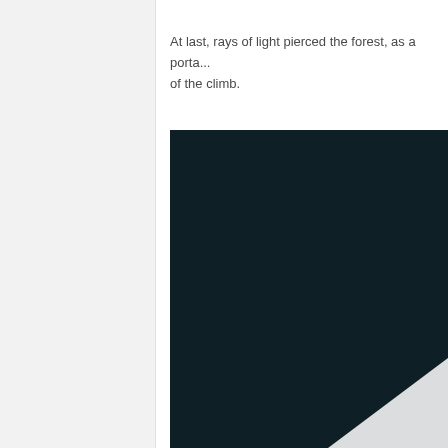At last, rays of light pierced the forest, as a porta... of the climb.
[Figure (photo): Dark navy/near-black background image with a white geometric triangle or angular shape visible in the bottom-right corner.]